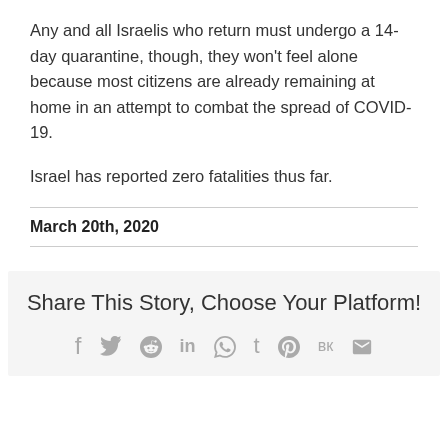Any and all Israelis who return must undergo a 14-day quarantine, though, they won't feel alone because most citizens are already remaining at home in an attempt to combat the spread of COVID-19.
Israel has reported zero fatalities thus far.
March 20th, 2020
Share This Story, Choose Your Platform!